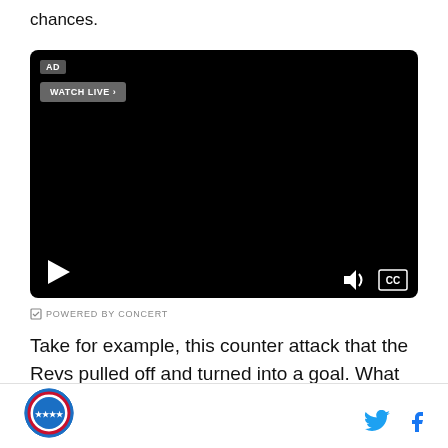chances.
[Figure (screenshot): Embedded video player with black background, AD badge, WATCH LIVE button, play button, volume icon, and CC button]
G POWERED BY CONCERT
Take for example, this counter attack that the Revs pulled off and turned into a goal. What side are they
[Figure (logo): Site logo circular badge and social media icons (Twitter and Facebook)]